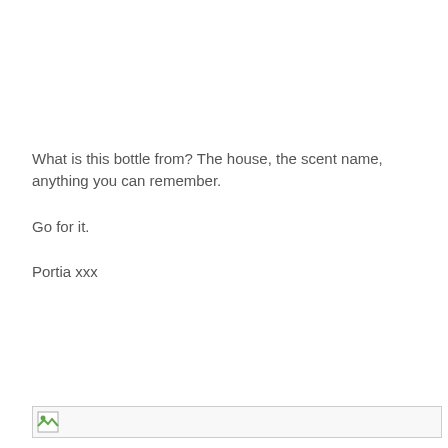What is this bottle from? The house, the scent name, anything you can remember.

Go for it.

Portia xxx
[Figure (other): Broken image placeholder at the bottom of the page with a small image icon on the left side and a horizontal border outline.]